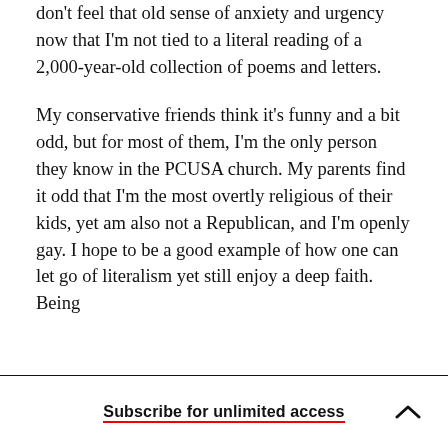don't feel that old sense of anxiety and urgency now that I'm not tied to a literal reading of a 2,000-year-old collection of poems and letters.
My conservative friends think it's funny and a bit odd, but for most of them, I'm the only person they know in the PCUSA church. My parents find it odd that I'm the most overtly religious of their kids, yet am also not a Republican, and I'm openly gay. I hope to be a good example of how one can let go of literalism yet still enjoy a deep faith. Being
Subscribe for unlimited access